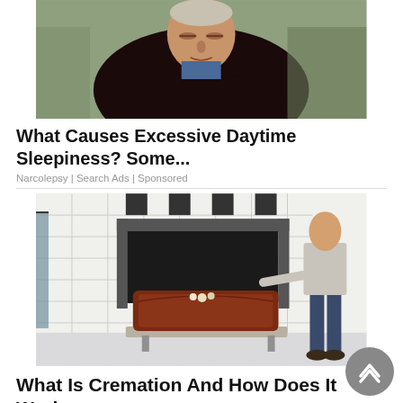[Figure (photo): Elderly man with arms crossed, sitting in a chair, appearing drowsy or asleep, wearing dark sweater.]
What Causes Excessive Daytime Sleepiness? Some...
Narcolepsy | Search Ads | Sponsored
[Figure (photo): A wooden coffin on a trolley in front of a cremation furnace opening, with a person standing to the right.]
What Is Cremation And How Does It Work